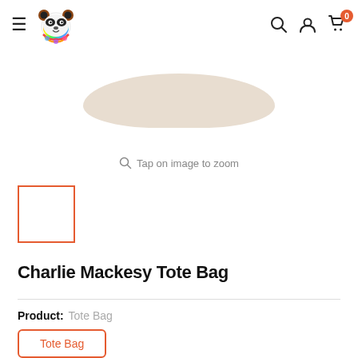Navigation bar with hamburger menu, colorful panda logo, search icon, account icon, cart icon with badge 0
[Figure (photo): Partial product image of a tote bag handle/top in beige/cream color against white background]
Tap on image to zoom
[Figure (photo): Small thumbnail preview box with orange border, selected state]
Charlie Mackesy Tote Bag
Product: Tote Bag
Tote Bag